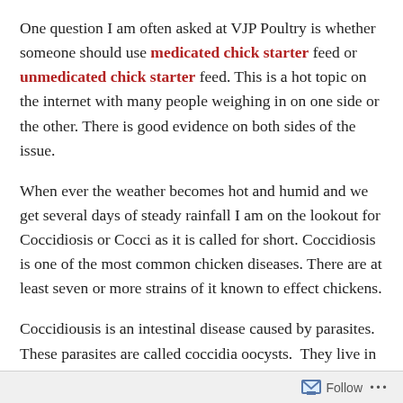One question I am often asked at VJP Poultry is whether someone should use medicated chick starter feed or unmedicated chick starter feed. This is a hot topic on the internet with many people weighing in on one side or the other. There is good evidence on both sides of the issue.
When ever the weather becomes hot and humid and we get several days of steady rainfall I am on the lookout for Coccidiosis or Cocci as it is called for short. Coccidiosis is one of the most common chicken diseases. There are at least seven or more strains of it known to effect chickens.
Coccidiousis is an intestinal disease caused by parasites.  These parasites are called coccidia oocysts.  They live in the soil but can be carried by equipment, people or other birds, especially wild birds
Follow ...